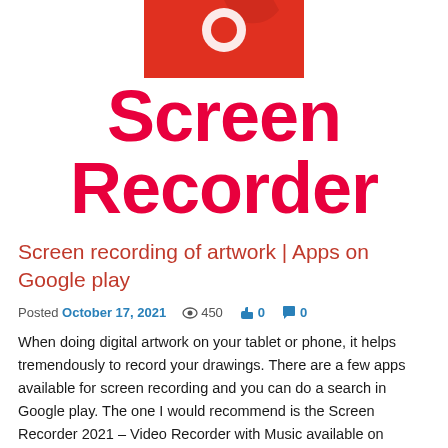[Figure (illustration): Screen Recorder app icon — red rounded rectangle shape partially visible at top, with white record button circle symbol]
Screen Recorder
Screen recording of artwork | Apps on Google play
Posted October 17, 2021  450  0  0
When doing digital artwork on your tablet or phone, it helps tremendously to record your drawings. There are a few apps available for screen recording and you can do a search in Google play. The one I would recommend is the Screen Recorder 2021 – Video Recorder with Music available on Google play. This great
Read More